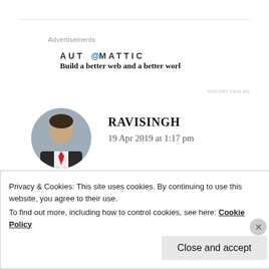Advertisements
[Figure (logo): Automattic logo with blue 'O': AUT@MATTIC]
Build a better web and a better world.
REPORT THIS AD
[Figure (photo): Circular avatar photo of RAVISINGH, man in suit with red tie]
RAVISINGH
19 Apr 2019 at 1:17 pm
you have summarised your short blogging journey in a true and wonderful manner.I really appreciate it. Priyal
Privacy & Cookies: This site uses cookies. By continuing to use this website, you agree to their use.
To find out more, including how to control cookies, see here: Cookie Policy
Close and accept